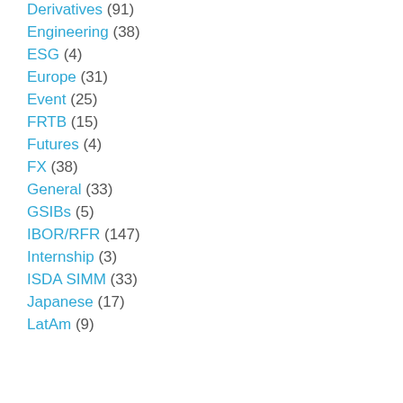Derivatives (91)
Engineering (38)
ESG (4)
Europe (31)
Event (25)
FRTB (15)
Futures (4)
FX (38)
General (33)
GSIBs (5)
IBOR/RFR (147)
Internship (3)
ISDA SIMM (33)
Japanese (17)
LatAm (9)